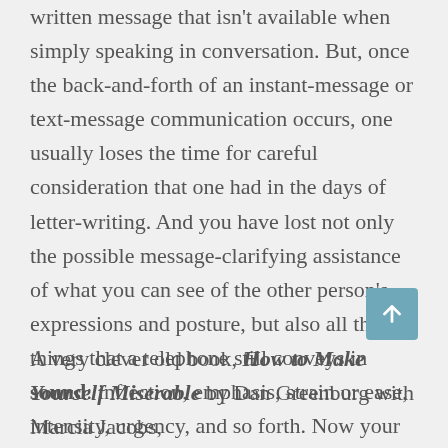written message that isn't available when simply speaking in conversation. But, once the back-and-forth of an instant-message or text-message communication occurs, one usually loses the time for careful consideration that one had in the days of letter-writing. And you have lost not only the possible message-clarifying assistance of what you can see of the other person's expressions and posture, but also all the things that a telephone still conveys in sound: inflection, emphasis, strain or ease, intensity, urgency, and so forth. Now your chance of being misunderstood has increased even more.
A very clever old book, How to Make Yourself Miserable by Dan Greenburg with Marcia Jacobs,